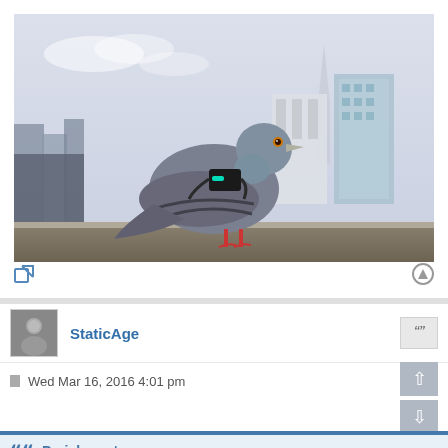[Figure (photo): A pigeon with a small black device strapped to its back, standing on a ledge with a city skyline in the background including a spire and modern glass buildings. Cloudy sky.]
StaticAge
Wed Mar 16, 2016 4:01 pm
Pariah wrote: